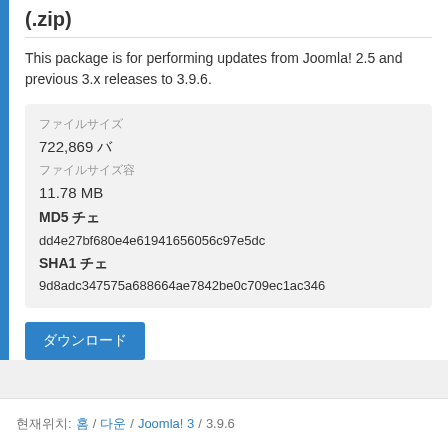(.zip)
This package is for performing updates from Joomla! 2.5 and previous 3.x releases to 3.9.6.
| 파일크기 | 722,869 바 |
| 파일크기(용) | 11.78 MB |
| MD5 체크섬 | dd4e27bf680e4e61941656056c97e5dc |
| SHA1 체크섬 | 9d8adc347575a688664ae7842be0c709ec1ac346 |
다운로드
현재위치: 홈 / 다운 / Joomla! 3 / 3.9.6